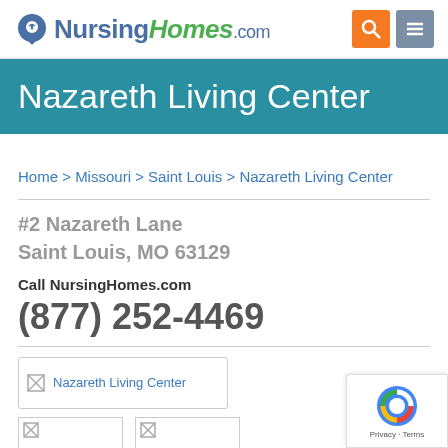[Figure (logo): NursingHomes.com logo with location pin icon]
Nazareth Living Center
Home > Missouri > Saint Louis > Nazareth Living Center
#2 Nazareth Lane
Saint Louis, MO 63129
Call NursingHomes.com
(877) 252-4469
[Figure (photo): Nazareth Living Center facility image placeholder]
[Figure (photo): Small image placeholder 1]
[Figure (photo): Small image placeholder 2]